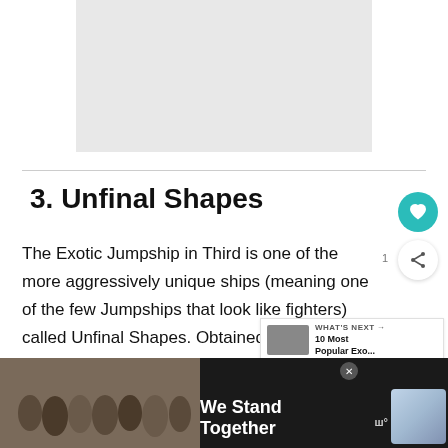[Figure (other): Gray placeholder image rectangle]
3. Unfinal Shapes
The Exotic Jumpship in Third is one of the more aggressively unique ships (meaning one of the few Jumpships that look like fighters) called Unfinal Shapes. Obtained from Bright and the Prismatic Matrix during Season 4.
[Figure (photo): What's Next promotional thumbnail showing landscape/water scene with text '10 Most Popular Exo...']
[Figure (photo): Advertisement banner - We Stand Together - group of people with arms around each other]